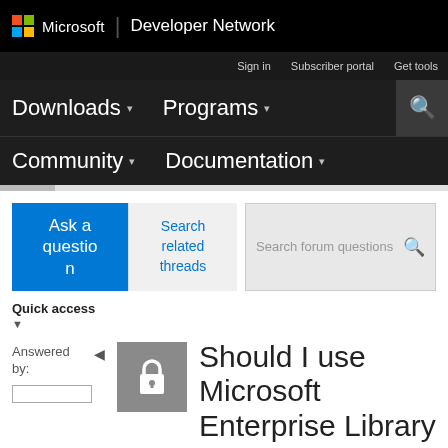Microsoft | Developer Network
Sign in | Subscriber portal | Get tools
Downloads | Programs | Community | Documentation
Ask a question
Search related threads
Search forum questions
Quick access
Answered by:
Should I use Microsoft Enterprise Library